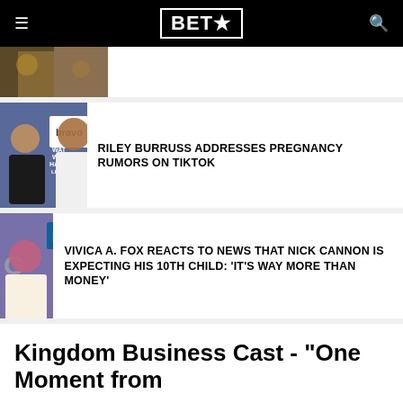BET★
[Figure (photo): Partial article card thumbnail at top — woman in gold/sequin dress]
[Figure (photo): Riley Burruss with Kandi Burruss at Bravo Watch What Happens Live event]
RILEY BURRUSS ADDRESSES PREGNANCY RUMORS ON TIKTOK
[Figure (photo): Vivica A. Fox and Nick Cannon at FOX event]
VIVICA A. FOX REACTS TO NEWS THAT NICK CANNON IS EXPECTING HIS 10TH CHILD: 'IT'S WAY MORE THAN MONEY'
Kingdom Business Cast - "One Moment from